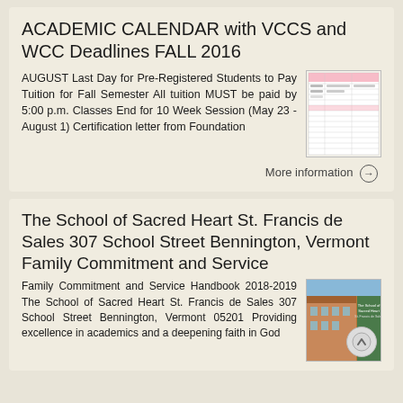ACADEMIC CALENDAR with VCCS and WCC Deadlines FALL 2016
AUGUST Last Day for Pre-Registered Students to Pay Tuition for Fall Semester All tuition MUST be paid by 5:00 p.m. Classes End for 10 Week Session (May 23 - August 1) Certification letter from Foundation
[Figure (table-as-image): Thumbnail image of an academic calendar table]
More information →
The School of Sacred Heart St. Francis de Sales 307 School Street Bennington, Vermont Family Commitment and Service
Family Commitment and Service Handbook 2018-2019 The School of Sacred Heart St. Francis de Sales 307 School Street Bennington, Vermont 05201 Providing excellence in academics and a deepening faith in God
[Figure (photo): Thumbnail image of The School of Sacred Heart St. Francis de Sales building and handbook cover]